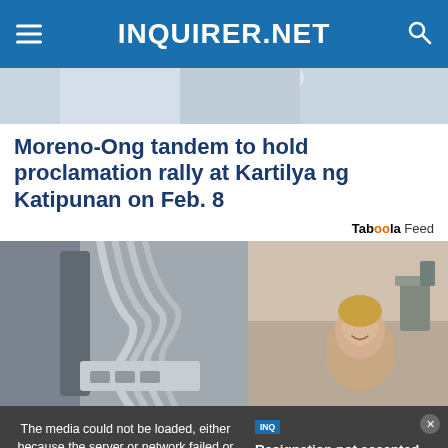INQUIRER.NET
[Figure (photo): Partial photo of a doctor or medical professional in white coat with stethoscope, cropped at top]
Moreno-Ong tandem to hold proclamation rally at Kartilya ng Katipunan on Feb. 8
Taboola Feed
[Figure (photo): Advertisement photo showing a medical/beauty device with tubes and cables on the left, and a smiling woman lying on a treatment bed on the right]
The media could not be loaded, either because the server or network failed or because the format is not supported.
RESIGNATION NOT ACCEPTED YET BUT AGRI EXEC UNDER PREVENTIVE SUSPENSION
Resignation not accepted yet but Agriculture exec under preventive…